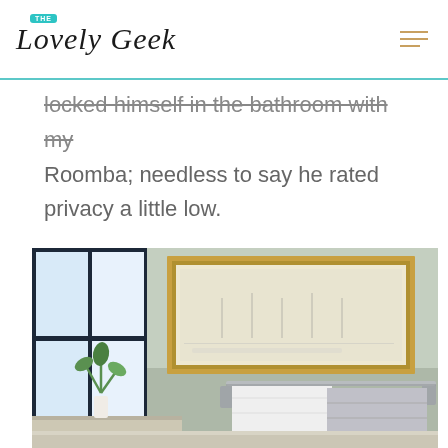The Lovely Geek
locked himself in the bathroom with my Roomba; needless to say he rated privacy a little low.
[Figure (photo): Bathroom interior with a window on the left showing a small plant on the sill, a framed picture on the greenish-gray wall, and towels hanging on a chrome towel bar in the foreground.]